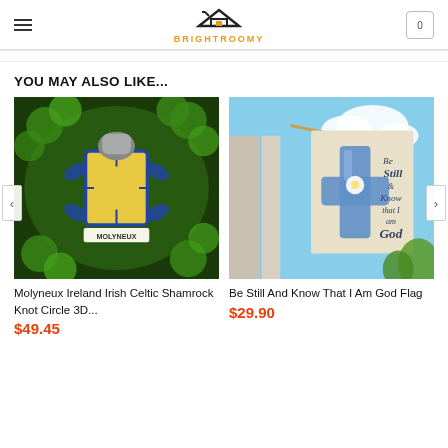BRIGHTROOMY
YOU MAY ALSO LIKE...
[Figure (photo): Molyneux Ireland Irish Celtic Shamrock Knot Circle 3D quilt product photo showing a dark blanket with green shamrock patterns and a coat of arms labeled MOLYNEUX]
Molyneux Ireland Irish Celtic Shamrock Knot Circle 3D...
$49.45
[Figure (photo): Be Still And Know That I Am God Flag product photo showing a decorative flag hanging on a building with a blue cross and religious text]
Be Still And Know That I Am God Flag
$29.90